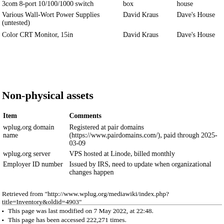| Item |  |  |
| --- | --- | --- |
| 3com 8-port 10/100/1000 switch | box | house |
| Various Wall-Wort Power Supplies (untested) | David Kraus | Dave's House |
| Color CRT Monitor, 15in | David Kraus | Dave's House |
Non-physical assets
| Item | Comments |
| --- | --- |
| wplug.org domain name | Registered at pair domains (https://www.pairdomains.com/), paid through 2025-03-09 |
| wplug.org server | VPS hosted at Linode, billed monthly |
| Employer ID number | Issued by IRS, need to update when organizational changes happen |
Retrieved from "http://www.wplug.org/mediawiki/index.php?title=Inventory&oldid=4903"
This page was last modified on 7 May 2022, at 22:48.
This page has been accessed 222,271 times.